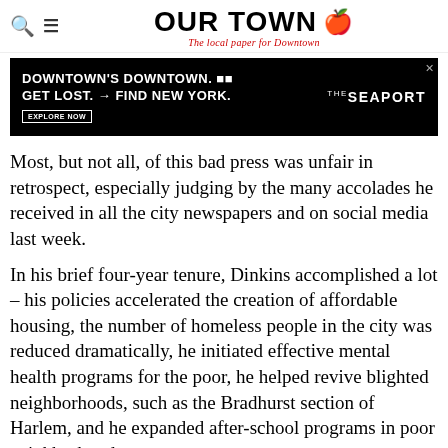OUR TOWN — The local paper for Downtown
[Figure (other): Advertisement banner: DOWNTOWN'S DOWNTOWN. GET LOST. → FIND NEW YORK. EXPLORE NOW. THE SEAPORT]
Most, but not all, of this bad press was unfair in retrospect, especially judging by the many accolades he received in all the city newspapers and on social media last week.
In his brief four-year tenure, Dinkins accomplished a lot – his policies accelerated the creation of affordable housing, the number of homeless people in the city was reduced dramatically, he initiated effective mental health programs for the poor, he helped revive blighted neighborhoods, such as the Bradhurst section of Harlem, and he expanded after-school programs in poor neighborhoods.
What gets very little credit, because of the narrative